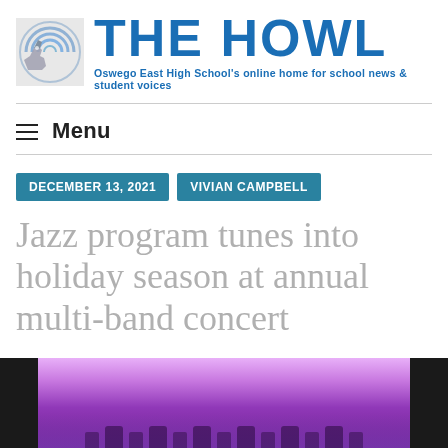[Figure (logo): The Howl newspaper logo with wolf and sound wave graphic]
THE HOWL
Oswego East High School's online home for school news & student voices
Menu
DECEMBER 13, 2021  VIVIAN CAMPBELL
Jazz program tunes into holiday season at annual multi-band concert
[Figure (photo): Stage lit with purple lights showing performers at annual multi-band concert]